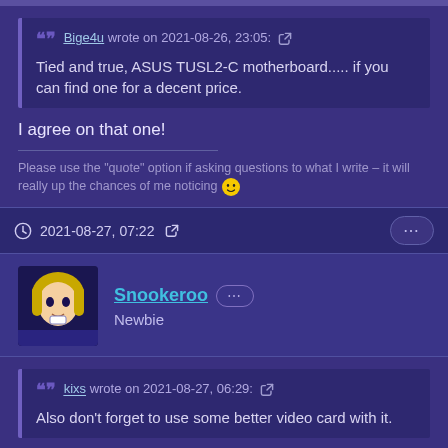Bige4u wrote on 2021-08-26, 23:05: Tied and true, ASUS TUSL2-C motherboard..... if you can find one for a decent price.
I agree on that one!
Please use the "quote" option if asking questions to what I write – it will really up the chances of me noticing 😀
2021-08-27, 07:22
Snookeroo Newbie
kixs wrote on 2021-08-27, 06:29: Also don't forget to use some better video card with it.